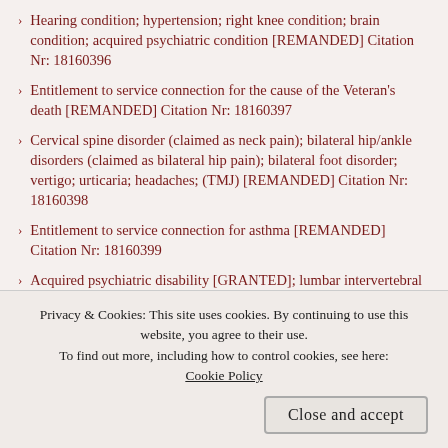Hearing condition; hypertension; right knee condition; brain condition; acquired psychiatric condition [REMANDED] Citation Nr: 18160396
Entitlement to service connection for the cause of the Veteran's death [REMANDED] Citation Nr: 18160397
Cervical spine disorder (claimed as neck pain); bilateral hip/ankle disorders (claimed as bilateral hip pain); bilateral foot disorder; vertigo; urticaria; headaches; (TMJ) [REMANDED] Citation Nr: 18160398
Entitlement to service connection for asthma [REMANDED] Citation Nr: 18160399
Acquired psychiatric disability [GRANTED]; lumbar intervertebral disc syndrome with degenerative arthritic changes [REMANDED]; service connection for bilateral disabilities...
Privacy & Cookies: This site uses cookies. By continuing to use this website, you agree to their use. To find out more, including how to control cookies, see here: Cookie Policy